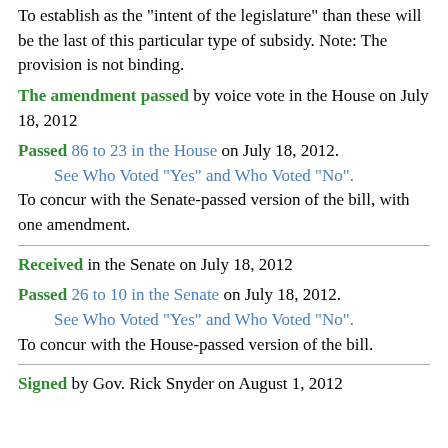To establish as the "intent of the legislature" than these will be the last of this particular type of subsidy. Note: The provision is not binding.
The amendment passed by voice vote in the House on July 18, 2012
Passed 86 to 23 in the House on July 18, 2012.
    See Who Voted "Yes" and Who Voted "No".
To concur with the Senate-passed version of the bill, with one amendment.
Received in the Senate on July 18, 2012
Passed 26 to 10 in the Senate on July 18, 2012.
    See Who Voted "Yes" and Who Voted "No".
To concur with the House-passed version of the bill.
Signed by Gov. Rick Snyder on August 1, 2012